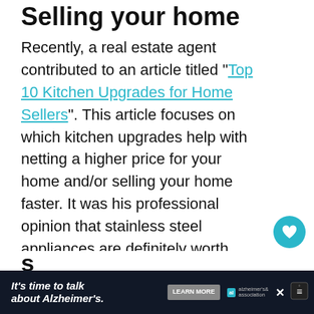Selling your home
Recently, a real estate agent contributed to an article titled “Top 10 Kitchen Upgrades for Home Sellers”. This article focuses on which kitchen upgrades help with netting a higher price for your home and/or selling your home faster. It was his professional opinion that stainless steel appliances are definitely worth installing in your home just for resale value and saleability of your home.
What about those nasty
[Figure (other): Advertisement banner: It’s time to talk about Alzheimer’s. Learn More button. Alzheimer’s Association logo.]